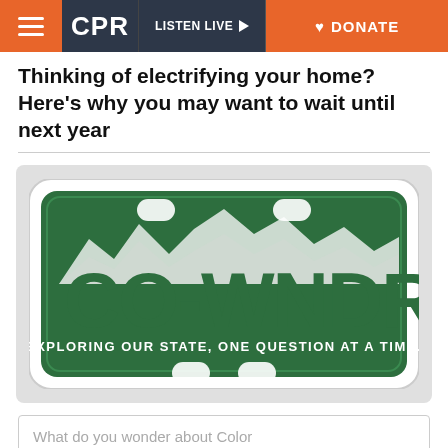CPR | LISTEN LIVE | DONATE
Thinking of electrifying your home? Here’s why you may want to wait until next year
[Figure (illustration): Colorado license plate logo for CO-WNDRS (Colorado Wonders) series. Green plate with white mountains in background, large text CO-WNDRS, subtitle EXPLORING OUR STATE, ONE QUESTION AT A TIME.]
What do you wonder about Color